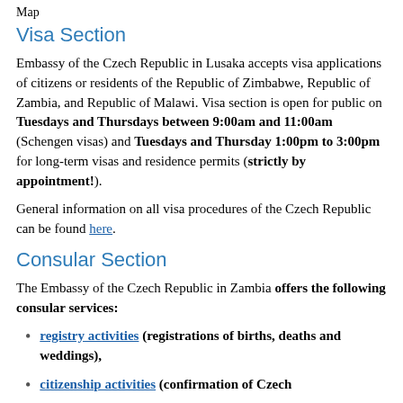Map
Visa Section
Embassy of the Czech Republic in Lusaka accepts visa applications of citizens or residents of the Republic of Zimbabwe, Republic of Zambia, and Republic of Malawi. Visa section is open for public on Tuesdays and Thursdays between 9:00am and 11:00am (Schengen visas) and Tuesdays and Thursday 1:00pm to 3:00pm for long-term visas and residence permits (strictly by appointment!).
General information on all visa procedures of the Czech Republic can be found here.
Consular Section
The Embassy of the Czech Republic in Zambia offers the following consular services:
registry activities (registrations of births, deaths and weddings),
citizenship activities (confirmation of Czech